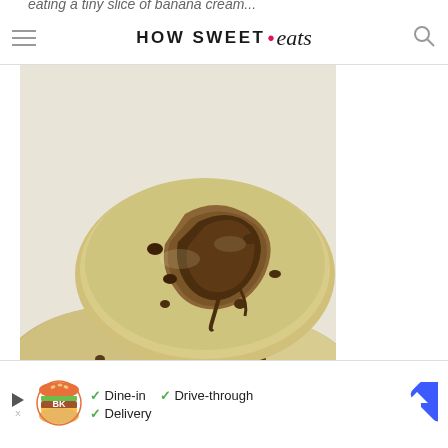HOW SWEET • eats
eating a tiny slice of banana cream...
[Figure (photo): Close-up photo of chocolate chip cookies stacked together, with one cookie bitten showing gooey chocolate interior, on a white surface.]
Dine-in  Drive-through  Delivery  (Burger King advertisement)